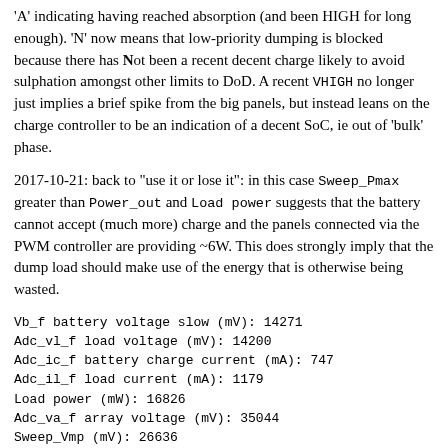'A' indicating having reached absorption (and been HIGH for long enough). 'N' now means that low-priority dumping is blocked because there has Not been a recent decent charge likely to avoid sulphation amongst other limits to DoD. A recent VHIGH no longer just implies a brief spike from the big panels, but instead leans on the charge controller to be an indication of a decent SoC, ie out of 'bulk' phase.
2017-10-21: back to "use it or lose it": in this case Sweep_Pmax greater than Power_out and Load power suggests that the battery cannot accept (much more) charge and the panels connected via the PWM controller are providing ~6W. This does strongly imply that the dump load should make use of the energy that is otherwise being wasted.
Vb_f battery voltage slow (mV): 14271
Adc_vl_f load voltage (mV): 14200
Adc_ic_f battery charge current (mA): 747
Adc_il_f load current (mA): 1179
Load power (mW): 16826
Adc_va_f array voltage (mV): 35044
Sweep_Vmp (mV): 26636
Sweep_Voc (mV): 32117
Sweep_Pmax (mW): 36554
Power_out (mW): 10615
kWhc (kWh*10): 3342
charge state: 6